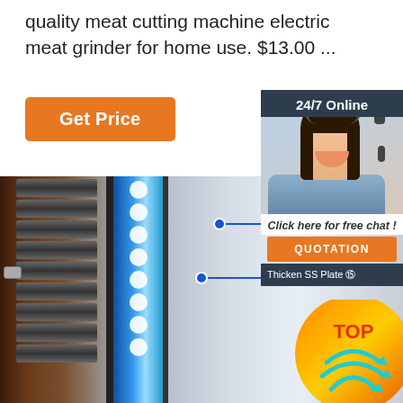quality meat cutting machine electric meat grinder for home use. $13.00 ...
[Figure (screenshot): Orange 'Get Price' button on white background]
[Figure (infographic): 24/7 Online chat panel with agent photo, 'Click here for free chat!', QUOTATION button, and Thicken SS Plate label]
[Figure (photo): Product photo of industrial food dehydrator/dryer machine with trays on left, blue LED strip in middle, stainless steel panel with annotations: No-finger, 35MM Thicke, Thicken SS Plate 3]
[Figure (infographic): TOP badge with teal arrows on orange/colorful background circle]